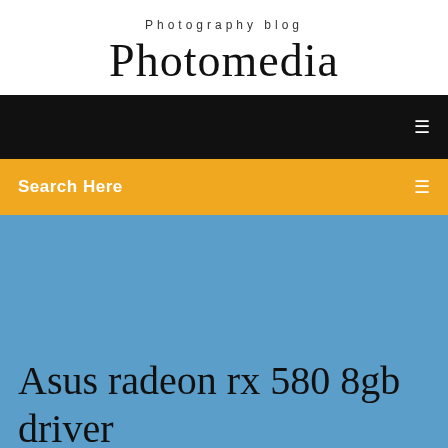Photography blog
Photomedia
[Figure (screenshot): Black navigation bar with a small white menu icon on the right]
Search Here
Asus radeon rx 580 8gb driver